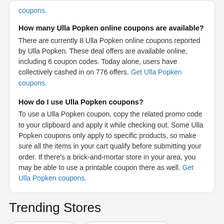coupons.
How many Ulla Popken online coupons are available?
There are currently 8 Ulla Popken online coupons reported by Ulla Popken. These deal offers are available online, including 6 coupon codes. Today alone, users have collectively cashed in on 776 offers. Get Ulla Popken coupons.
How do I use Ulla Popken coupons?
To use a Ulla Popken coupon, copy the related promo code to your clipboard and apply it while checking out. Some Ulla Popken coupons only apply to specific products, so make sure all the items in your cart qualify before submitting your order. If there's a brick-and-mortar store in your area, you may be able to use a printable coupon there as well. Get Ulla Popken coupons.
Trending Stores
AHAVA coupons
Bare Minerals coupons